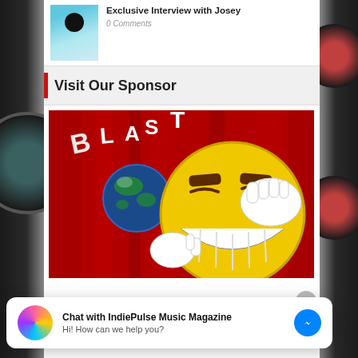[Figure (photo): Thumbnail photo of a woman in a blue outfit, associated with 'Exclusive Interview with Josey']
Exclusive Interview with Josey
0 Comments
Visit Our Sponsor
[Figure (photo): Sponsor advertisement image showing a large yellow smiley face emoji with white cartoon gloves on a red curtain background, with 'BLAST' text and a globe graphic]
Chat with IndiePulse Music Magazine
Hi! How can we help you?